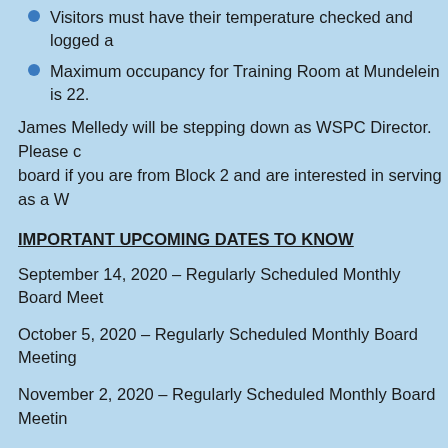Visitors must have their temperature checked and logged at
Maximum occupancy for Training Room at Mundelein is 22.
James Melledy will be stepping down as WSPC Director. Please c board if you are from Block 2 and are interested in serving as a W
IMPORTANT UPCOMING DATES TO KNOW
September 14, 2020 – Regularly Scheduled Monthly Board Meet
October 5, 2020 – Regularly Scheduled Monthly Board Meeting
November 2, 2020 – Regularly Scheduled Monthly Board Meetin
December 7, 2020 – Regularly Scheduled Monthly Board Meetin
-
REMINDERS
Don't forget to add westshorepark@westshorepark.com to your e WSP emails and notices are received and not marked as "spam"